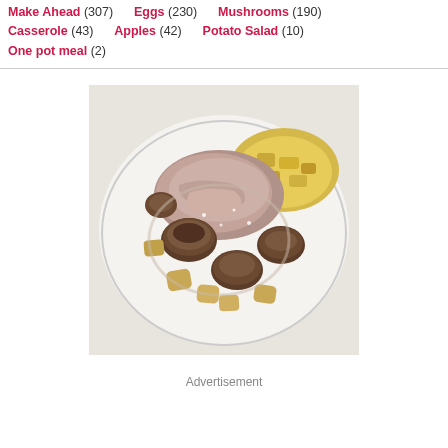Make Ahead (307)    Eggs (230)    Mushrooms (190)
Casserole (43)    Apples (42)    Potato Salad (10)
One pot meal (2)
[Figure (photo): A plate of cooked chicken or pork with sautéed mushrooms and potato chunks, with a side of yellow potato salad, on a white plate.]
Advertisement